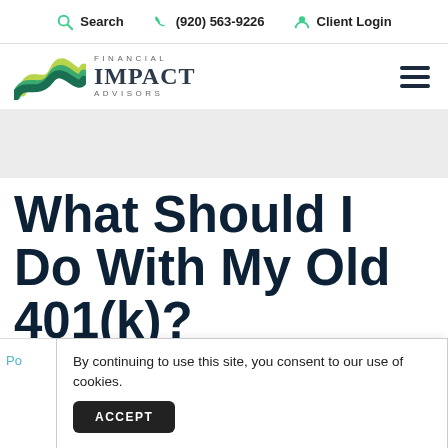Search  (920) 563-9226  Client Login
[Figure (logo): Financial Impact Advisors logo with green wave mark and company name]
What Should I Do With My Old 401(k)?
By continuing to use this site, you consent to our use of cookies.
ACCEPT